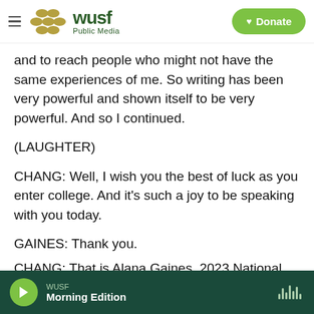WUSF Public Media — Donate
and to reach people who might not have the same experiences of me. So writing has been very powerful and shown itself to be very powerful. And so I continued.
(LAUGHTER)
CHANG: Well, I wish you the best of luck as you enter college. And it's such a joy to be speaking with you today.
GAINES: Thank you.
CHANG: That is Alana Gaines, 2023 National…
WUSF Morning Edition